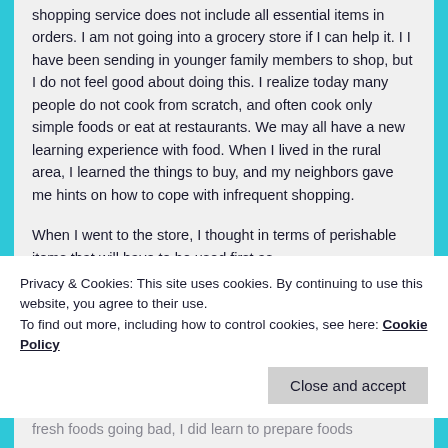shopping service does not include all essential items in orders. I am not going into a grocery store if I can help it. I I have been sending in younger family members to shop, but I do not feel good about doing this. I realize today many people do not cook from scratch, and often cook only simple foods or eat at restaurants. We may all have a new learning experience with food. When I lived in the rural area, I learned the things to buy, and my neighbors gave me hints on how to cope with infrequent shopping.
When I went to the store, I thought in terms of perishable items that will have to be used first as
Privacy & Cookies: This site uses cookies. By continuing to use this website, you agree to their use.
To find out more, including how to control cookies, see here: Cookie Policy
Close and accept
fresh foods going bad, I did learn to prepare foods